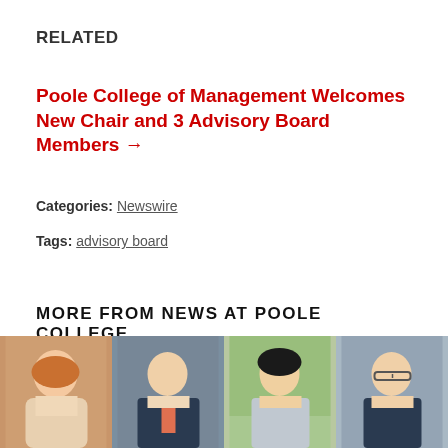RELATED
Poole College of Management Welcomes New Chair and 3 Advisory Board Members →
Categories: Newswire
Tags: advisory board
MORE FROM NEWS AT POOLE COLLEGE
[Figure (photo): Four headshot photos of individuals side by side at the bottom of the page]